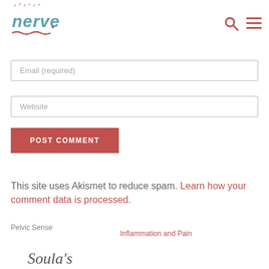[Figure (logo): Nerve website logo with hand-drawn style text 'nerve' in teal/blue with red wavy underline and small decorative marks above]
Email (required)
Website
POST COMMENT
This site uses Akismet to reduce spam. Learn how your comment data is processed.
Pelvic Sense
Inflammation and Pain
Soula's